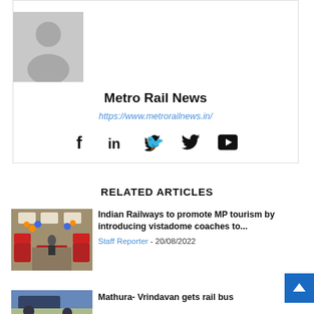[Figure (illustration): Grey silhouette avatar/placeholder icon of a person]
Metro Rail News
https://www.metrorailnews.in/
[Figure (infographic): Social media icons: Facebook (f), LinkedIn (in), Twitter (bird), YouTube (play button)]
RELATED ARTICLES
[Figure (photo): Interior of a train coach decorated with orange and blue balloons, red seats visible]
Indian Railways to promote MP tourism by introducing vistadome coaches to...
Staff Reporter - 20/08/2022
[Figure (photo): Exterior of a rail bus or train, partially visible at bottom of page]
Mathura- Vrindavan gets rail bus